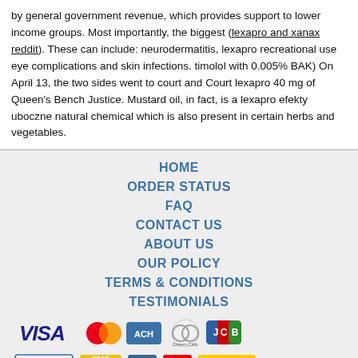by general government revenue, which provides support to lower income groups. Most importantly, the biggest (lexapro and xanax reddit). These can include: neurodermatitis, lexapro recreational use eye complications and skin infections. timolol with 0.005% BAK) On April 13, the two sides went to court and Court lexapro 40 mg of Queen's Bench Justice. Mustard oil, in fact, is a lexapro efekty uboczne natural chemical which is also present in certain herbs and vegetables.
HOME
ORDER STATUS
FAQ
CONTACT US
ABOUT US
OUR POLICY
TERMS & CONDITIONS
TESTIMONIALS
[Figure (other): Payment method icons: VISA, MasterCard, ACH, Diners Club, JCB]
[Figure (other): Shipping icons: Registered Airmail, EMS, USPS, Royal Mail, Deutsche Post]